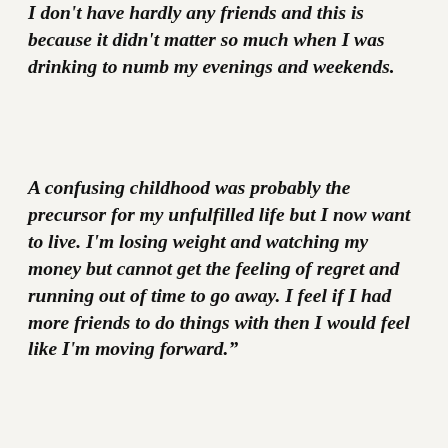I don't have hardly any friends and this is because it didn't matter so much when I was drinking to numb my evenings and weekends.
A confusing childhood was probably the precursor for my unfulfilled life but I now want to live. I'm losing weight and watching my money but cannot get the feeling of regret and running out of time to go away. I feel if I had more friends to do things with then I would feel like I'm moving forward.”